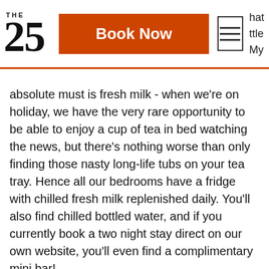THE 25 | Book Now | [hamburger menu] | ...hat ttle My
absolute must is fresh milk - when we're on holiday, we have the very rare opportunity to be able to enjoy a cup of tea in bed watching the news, but there's nothing worse than only finding those nasty long-life tubs on your tea tray. Hence all our bedrooms have a fridge with chilled fresh milk replenished daily. You'll also find chilled bottled water, and if you currently book a two night stay direct on our own website, you'll even find a complimentary mini bar!
The second thing that impresses me when I arrive somewhere is getting offered a drink and it being accompanied